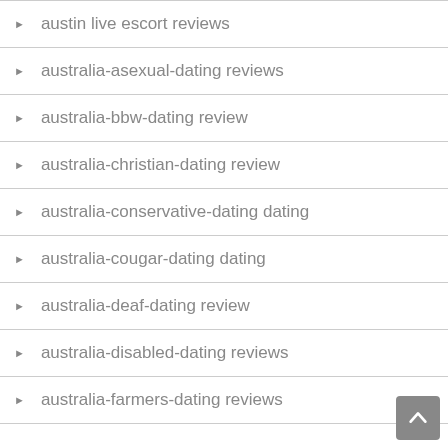austin live escort reviews
australia-asexual-dating reviews
australia-bbw-dating review
australia-christian-dating review
australia-conservative-dating dating
australia-cougar-dating dating
australia-deaf-dating review
australia-disabled-dating reviews
australia-farmers-dating reviews